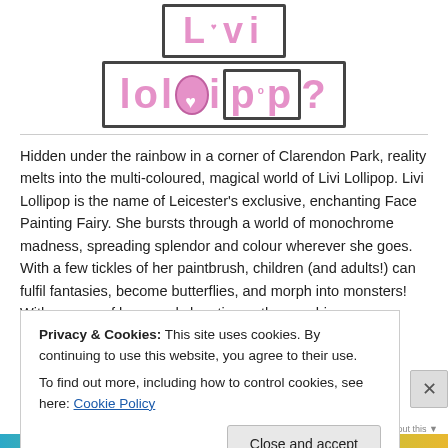[Figure (logo): Livi Lollipop decorative logo with pink bubble letters and hand-drawn border style]
Hidden under the rainbow in a corner of Clarendon Park, reality melts into the multi-coloured, magical world of Livi Lollipop. Livi Lollipop is the name of Leicester's exclusive, enchanting Face Painting Fairy. She bursts through a world of monochrome madness, spreading splendor and colour wherever she goes. With a few tickles of her paintbrush, children (and adults!) can fulfil fantasies, become butterflies, and morph into monsters! With a wave of her wand she stirs up the sunshine
Privacy & Cookies: This site uses cookies. By continuing to use this website, you agree to their use.
To find out more, including how to control cookies, see here: Cookie Policy